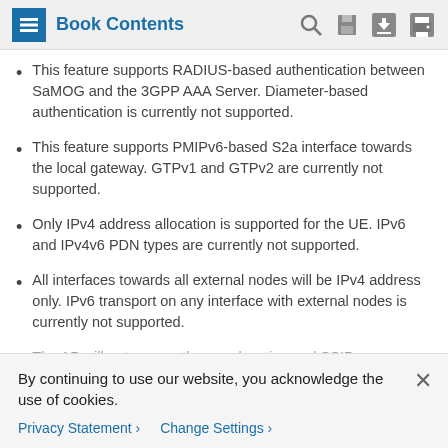Book Contents
This feature supports RADIUS-based authentication between SaMOG and the 3GPP AAA Server. Diameter-based authentication is currently not supported.
This feature supports PMIPv6-based S2a interface towards the local gateway. GTPv1 and GTPv2 are currently not supported.
Only IPv4 address allocation is supported for the UE. IPv6 and IPv4v6 PDN types are currently not supported.
All interfaces towards all external nodes will be IPv4 address only. IPv6 transport on any interface with external nodes is currently not supported.
The AP will not convey the user location and SSID
By continuing to use our website, you acknowledge the use of cookies.
Privacy Statement > Change Settings >